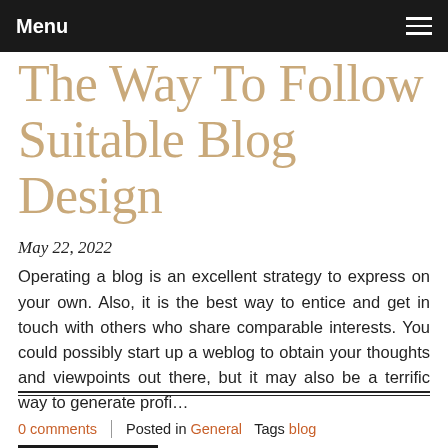Menu
The Way To Follow Suitable Blog Design
May 22, 2022
Operating a blog is an excellent strategy to express on your own. Also, it is the best way to entice and get in touch with others who share comparable interests. You could possibly start up a weblog to obtain your thoughts and viewpoints out there, but it may also be a terrific way to generate profi…
Read more
0 comments   Posted in General   Tags blog